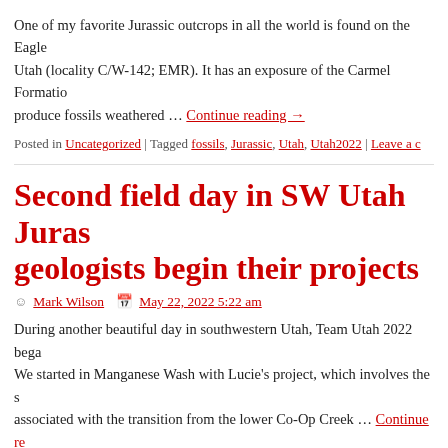One of my favorite Jurassic outcrops in all the world is found on the Eagle Utah (locality C/W-142; EMR). It has an exposure of the Carmel Formatio produce fossils weathered … Continue reading →
Posted in Uncategorized | Tagged fossils, Jurassic, Utah, Utah2022 | Leave a c
Second field day in SW Utah Juras geologists begin their projects
Mark Wilson  May 22, 2022 5:22 am
During another beautiful day in southwestern Utah, Team Utah 2022 bega We started in Manganese Wash with Lucie's project, which involves the s associated with the transition from the lower Co-Op Creek … Continue re
Posted in Uncategorized | Tagged fossils, Jurassic, Utah, Utah2022 | Leave a c
Wooster Geologists return to sout
Mark Wilson  May 21, 2022 5:21 am
Washington, Utah — In March 2020 a team of Wooster Geologists was in sampling, measuring and analyzing rocks and fossils from the Middle Jura